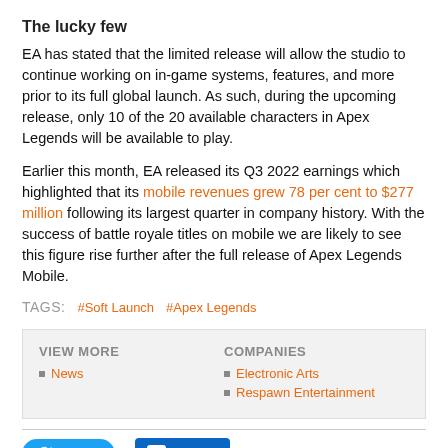The lucky few
EA has stated that the limited release will allow the studio to continue working on in-game systems, features, and more prior to its full global launch. As such, during the upcoming release, only 10 of the 20 available characters in Apex Legends will be available to play.
Earlier this month, EA released its Q3 2022 earnings which highlighted that its mobile revenues grew 78 per cent to $277 million following its largest quarter in company history. With the success of battle royale titles on mobile we are likely to see this figure rise further after the full release of Apex Legends Mobile.
TAGS: #Soft Launch #Apex Legends
VIEW MORE
• News
COMPANIES
• Electronic Arts
• Respawn Entertainment
Tweet  Share
Aaron Orr
News Editor